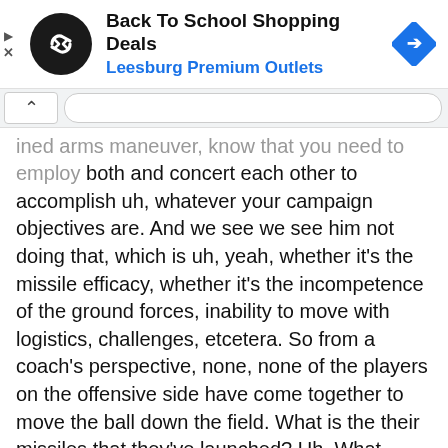[Figure (screenshot): Advertisement banner for Back To School Shopping Deals at Leesburg Premium Outlets, with circular black logo containing a stylized chain/link icon on the left, bold text in the center, and a blue diamond-shaped navigation arrow icon on the right. Small play and X icons on the far left edge.]
...ined arms maneuver, know that you need to employ both and concert each other to accomplish uh, whatever your campaign objectives are. And we see we see him not doing that, which is uh, yeah, whether it's the missile efficacy, whether it's the incompetence of the ground forces, inability to move with logistics, challenges, etcetera. So from a coach's perspective, none, none of the players on the offensive side have come together to move the ball down the field. What is the their missiles that they've launched? Uh, What percentage of them have worked that we have any idea I can talk about that? I probably shouldn't talk about that in a unclassified session. But I will tell you originally, we thought they weren't working. Um All right. At a rate that was as good as ours. But what what I would ...